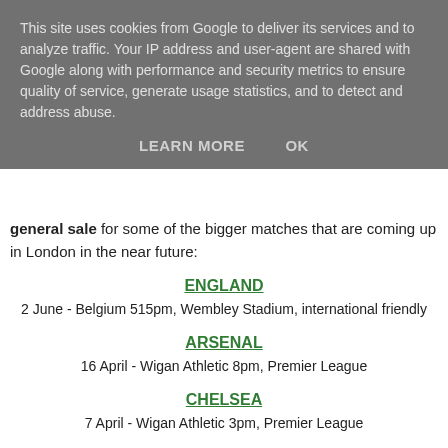This site uses cookies from Google to deliver its services and to analyze traffic. Your IP address and user-agent are shared with Google along with performance and security metrics to ensure quality of service, generate usage statistics, and to detect and address abuse.
LEARN MORE   OK
general sale for some of the bigger matches that are coming up in London in the near future:
ENGLAND
2 June - Belgium 515pm, Wembley Stadium, international friendly
ARSENAL
16 April - Wigan Athletic 8pm, Premier League
CHELSEA
7 April - Wigan Athletic 3pm, Premier League
FULHAM